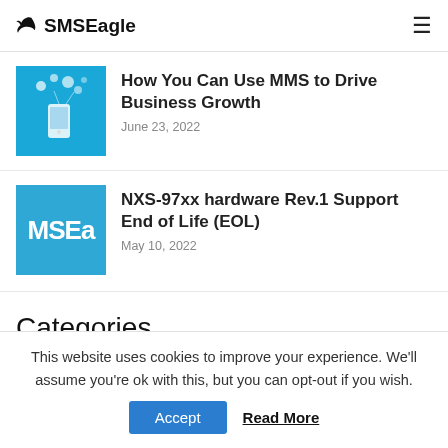SMSEagle
How You Can Use MMS to Drive Business Growth
June 23, 2022
NXS-97xx hardware Rev.1 Support End of Life (EOL)
May 10, 2022
Categories
Articles (23)
This website uses cookies to improve your experience. We'll assume you're ok with this, but you can opt-out if you wish.
Accept | Read More